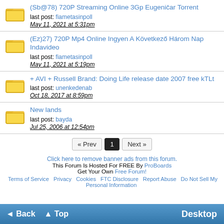(Sb@78) 720P Streaming Online 3Gp Eugeničar Torrent
last post: fiametasinpoll
May 11, 2021 at 5:31pm
(Ez)27) 720P Mp4 Online Ingyen A Következő Három Nap Indavideo
last post: fiametasinpoll
May 11, 2021 at 5:19pm
+ AVI + Russell Brand: Doing Life release date 2007 free kTLt
last post: unenkedenab
Oct 18, 2017 at 8:59pm
New lands
last post: bayda
Jul 25, 2006 at 12:54pm
« Prev  1  Next »
Click here to remove banner ads from this forum.
This Forum Is Hosted For FREE By ProBoards
Get Your Own Free Forum!
Terms of Service  Privacy  Cookies  FTC Disclosure  Report Abuse  Do Not Sell My Personal Information
◄ Back  ▲ Top  Desktop